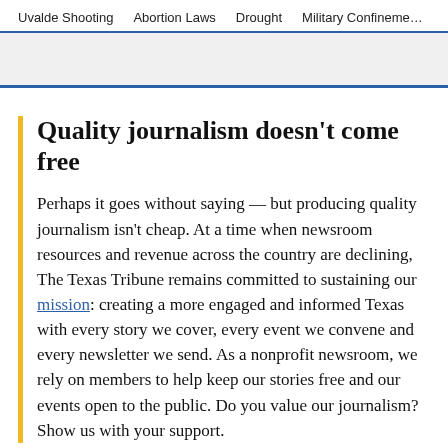Uvalde Shooting   Abortion Laws   Drought   Military Confinement
Quality journalism doesn't come free
Perhaps it goes without saying — but producing quality journalism isn't cheap. At a time when newsroom resources and revenue across the country are declining, The Texas Tribune remains committed to sustaining our mission: creating a more engaged and informed Texas with every story we cover, every event we convene and every newsletter we send. As a nonprofit newsroom, we rely on members to help keep our stories free and our events open to the public. Do you value our journalism? Show us with your support.